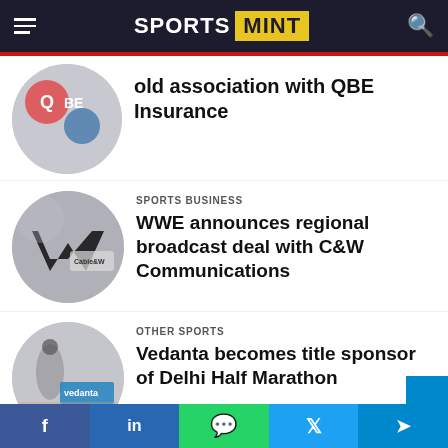SPORTS MINT
[Figure (photo): Circular thumbnail image for QBE Insurance article]
old association with QBE Insurance
[Figure (photo): Circular thumbnail showing WWE logo and Cable & Wireless branding]
SPORTS BUSINESS
WWE announces regional broadcast deal with C&W Communications
[Figure (photo): Circular thumbnail showing Vedanta logo and Delhi Half Marathon]
OTHER SPORTS
Vedanta becomes title sponsor of Delhi Half Marathon
f  in  WhatsApp  Twitter  Telegram